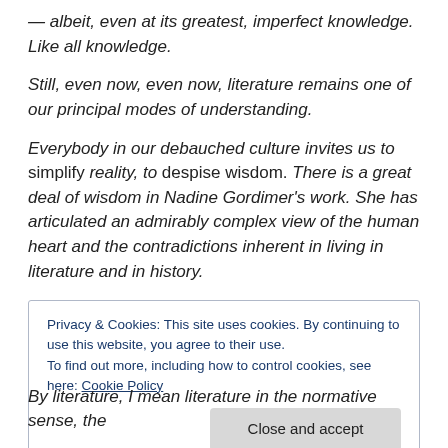— albeit, even at its greatest, imperfect knowledge. Like all knowledge.
Still, even now, even now, literature remains one of our principal modes of understanding.
Everybody in our debauched culture invites us to simplify reality, to despise wisdom. There is a great deal of wisdom in Nadine Gordimer's work. She has articulated an admirably complex view of the human heart and the contradictions inherent in living in literature and in history.
Privacy & Cookies: This site uses cookies. By continuing to use this website, you agree to their use. To find out more, including how to control cookies, see here: Cookie Policy | Close and accept
By literature, I mean literature in the normative sense, the